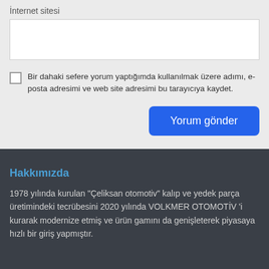İnternet sitesi
Bir dahaki sefere yorum yaptığımda kullanılmak üzere adımı, e-posta adresimi ve web site adresimi bu tarayıcıya kaydet.
Yorum gönder
Hakkımızda
1978 yılında kurulan "Çeliksan otomotiv" kalıp ve yedek parça üretimindeki tecrübesini 2020 yılında VOLKMER OTOMOTİV 'i kurarak modernize etmiş ve ürün gamını da genişleterek piyasaya hızlı bir giriş yapmıştır.